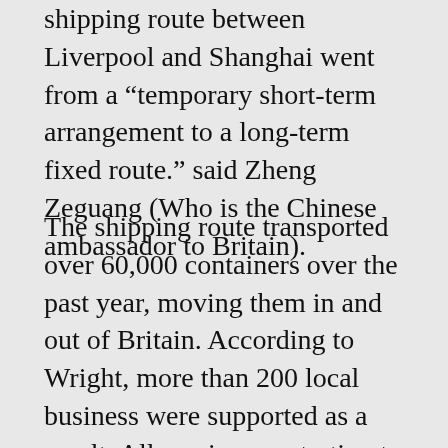shipping route between Liverpool and Shanghai went from a “temporary short-term arrangement to a long-term fixed route.” said Zheng Zeguang (Who is the Chinese ambassador to Britain).
The shipping route transported over 60,000 containers over the past year, moving them in and out of Britain. According to Wright, more than 200 local business were supported as a result. Allseas is now starting to make plans to cooperate with more ports in China… the company aims to provide weekly services since there is a possibility of having more vessels in operation.